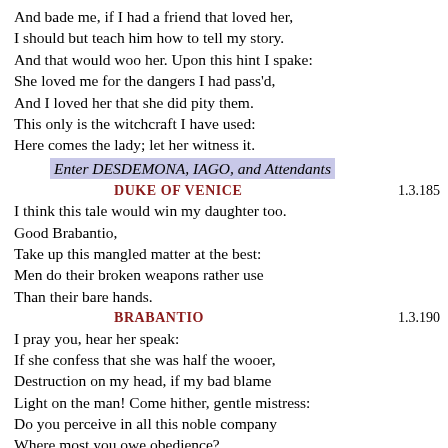And bade me, if I had a friend that loved her,
I should but teach him how to tell my story.
And that would woo her. Upon this hint I spake:
She loved me for the dangers I had pass'd,
And I loved her that she did pity them.
This only is the witchcraft I have used:
Here comes the lady; let her witness it.
Enter DESDEMONA, IAGO, and Attendants
DUKE OF VENICE  1.3.185
I think this tale would win my daughter too.
Good Brabantio,
Take up this mangled matter at the best:
Men do their broken weapons rather use
Than their bare hands.
BRABANTIO  1.3.190
I pray you, hear her speak:
If she confess that she was half the wooer,
Destruction on my head, if my bad blame
Light on the man! Come hither, gentle mistress:
Do you perceive in all this noble company
Where most you owe obedience?
DESDEMONA  1.3.196
My noble father,
I do perceive here a divided duty:
To you I am bound for life and education: